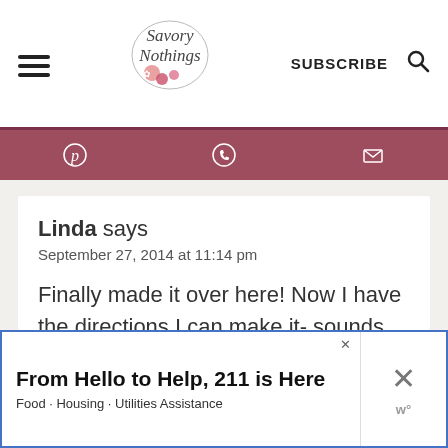Savory Nothings — SUBSCRIBE
[Figure (screenshot): Social sharing bar with Pinterest, WhatsApp, and email icons on dark mauve background]
Linda says
September 27, 2014 at 11:14 pm
Finally made it over here! Now I have the directions I can make it- sounds great!
[Figure (other): Like/heart button with count 789 and search button]
[Figure (other): Advertisement banner: From Hello to Help, 211 is Here — Food · Housing · Utilities Assistance]